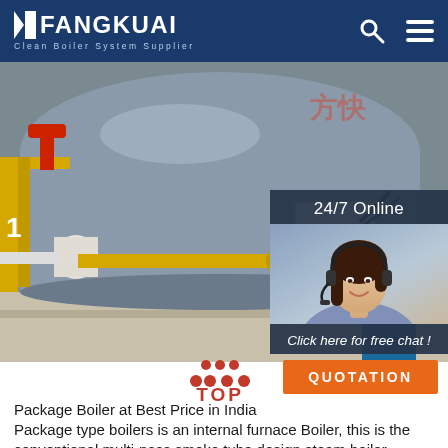FANGKUAI — Clean Boiler System Supplier
[Figure (photo): Industrial boiler system in a factory setting. Large grey cylindrical boiler with yellow and red pipes, control panel, and blue cylindrical component visible. Chinese characters in background.]
24/7 Online
[Figure (photo): Customer service representative, young woman with dark hair wearing headset, smiling, in a 24/7 online chat overlay panel.]
Click here for free chat !
QUOTATION
Package Boiler at Best Price in India
Package type boilers is an internal furnace Boiler, this is the conventional multi-pass smoke tube design steam boiler having